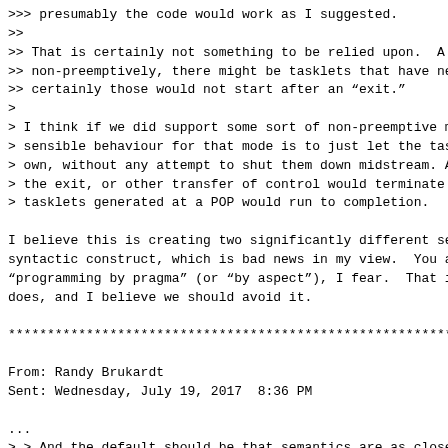>>> presumably the code would work as I suggested.
>>
>> That is certainly not something to be relied upon.  A
>> non-preemptively, there might be tasklets that have ne
>> certainly those would not start after an "exit."
>
> I think if we did support some sort of non-preemptive m
> sensible behaviour for that mode is to just let the tas
> own, without any attempt to shut them down midstream. A
> the exit, or other transfer of control would terminate
> tasklets generated at a POP would run to completion.

I believe this is creating two significantly different se
syntactic construct, which is bad news in my view.  You a
"programming by pragma" (or "by aspect"), I fear.  That i
does, and I believe we should avoid it.

************************************************************

From: Randy Brukardt
Sent: Wednesday, July 19, 2017  8:36 PM

...
> > And the default should be that semantics are as close
> > to sequential loops; many cases can use simpler termi
> > think the default should be fewest surprises.
>
> Agreed.

(I think this is the only thing that I wrote that Brad ag
...